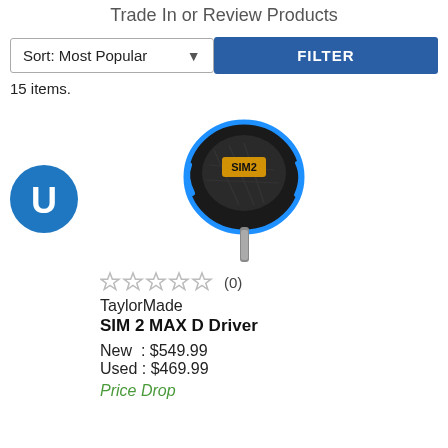Trade In or Review Products
Sort: Most Popular
FILTER
15 items.
[Figure (photo): TaylorMade SIM 2 MAX D Driver golf club head, black with blue accents]
[Figure (logo): Blue circular U logo (Used/Uventure brand)]
★★★★★ (0)
TaylorMade
SIM 2 MAX D Driver
New  : $549.99
Used : $469.99
Price Drop